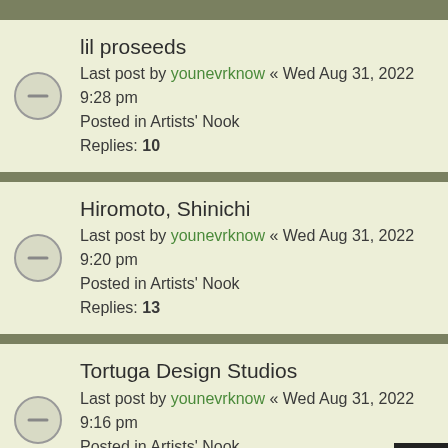lil proseeds
Last post by younevrknow « Wed Aug 31, 2022 9:28 pm
Posted in Artists' Nook
Replies: 10
Hiromoto, Shinichi
Last post by younevrknow « Wed Aug 31, 2022 9:20 pm
Posted in Artists' Nook
Replies: 13
Tortuga Design Studios
Last post by younevrknow « Wed Aug 31, 2022 9:16 pm
Posted in Artists' Nook
Replies: 3
Sax, Andrew